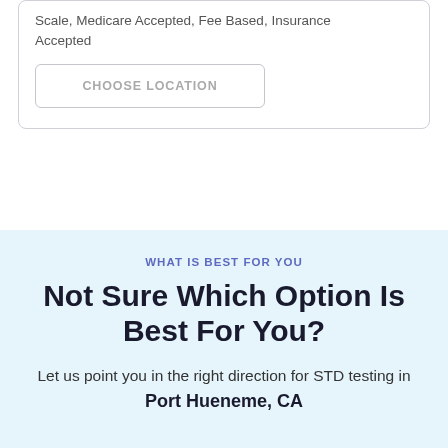Scale, Medicare Accepted, Fee Based, Insurance Accepted
CHOOSE LOCATION
WHAT IS BEST FOR YOU
Not Sure Which Option Is Best For You?
Let us point you in the right direction for STD testing in
Port Hueneme, CA